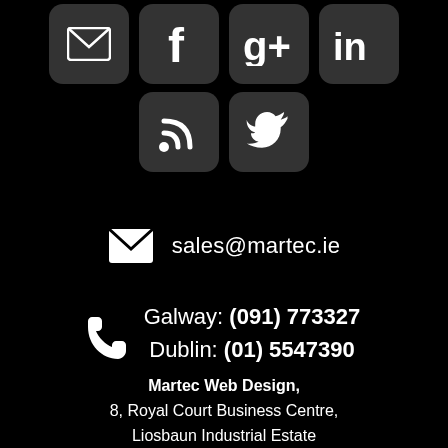[Figure (other): Social media icon buttons: email/envelope, Facebook, Google+, LinkedIn icons in dark rounded square buttons]
[Figure (other): Social media icon buttons: RSS feed and Twitter icons in dark rounded square buttons]
sales@martec.ie
Galway: (091) 773327
Dublin: (01) 5547390
Martec Web Design,
8, Royal Court Business Centre,
Liosbaun Industrial Estate
Tuam Road, Galway, 2017H
Ireland, H91 EVH3